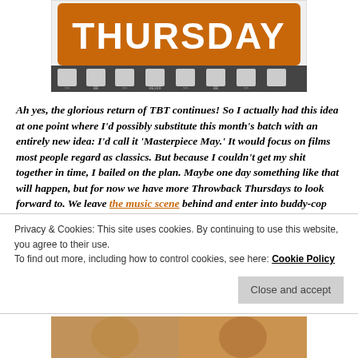[Figure (illustration): Film strip graphic with orange 'THURSDAY' text on top and film perforation holes along the bottom edge. Film strip shows frame markings including 'BB', 'HE100', and other edge notations.]
Ah yes, the glorious return of TBT continues! So I actually had this idea at one point where I'd possibly substitute this month's batch with an entirely new idea: I'd call it 'Masterpiece May.' It would focus on films most people regard as classics. But because I couldn't get my shit together in time, I bailed on the plan. Maybe one day something like that will happen, but for now we have more Throwback Thursdays to look forward to. We leave the music scene behind and enter into buddy-cop action-
Privacy & Cookies: This site uses cookies. By continuing to use this website, you agree to their use.
To find out more, including how to control cookies, see here: Cookie Policy
Close and accept
[Figure (photo): Partial bottom image showing what appears to be a movie still or photo, warm tones with faces visible.]